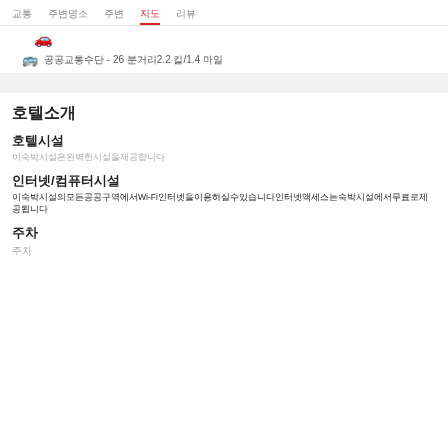교통  주변명소  주변  지도  리뷰
🚌 공공교통수단 - 26 분거리2.2 킬/1.4 마일
호텔소개
호텔시설
이숙박시설은완벽한시설을제공합니다
인터넷/컴퓨터시설
이숙박시설의모든공공구역에서Wi-Fi인터넷을이용하실수있습니다인터넷액세스는숙박시설에서무료로제공됩니다
주차
주차